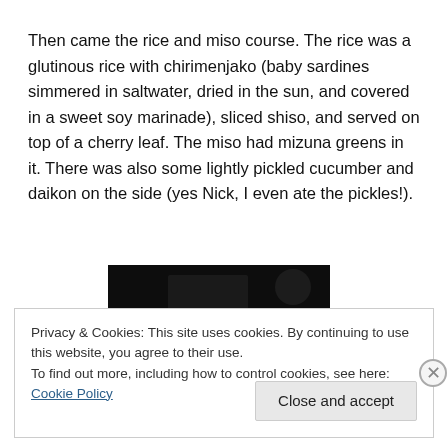Then came the rice and miso course. The rice was a glutinous rice with chirimenjako (baby sardines simmered in saltwater, dried in the sun, and covered in a sweet soy marinade), sliced shiso, and served on top of a cherry leaf. The miso had mizuna greens in it. There was also some lightly pickled cucumber and daikon on the side (yes Nick, I even ate the pickles!).
[Figure (photo): Dark/black photo of a food dish, mostly obscured by the cookie consent banner]
Privacy & Cookies: This site uses cookies. By continuing to use this website, you agree to their use.
To find out more, including how to control cookies, see here: Cookie Policy
Close and accept